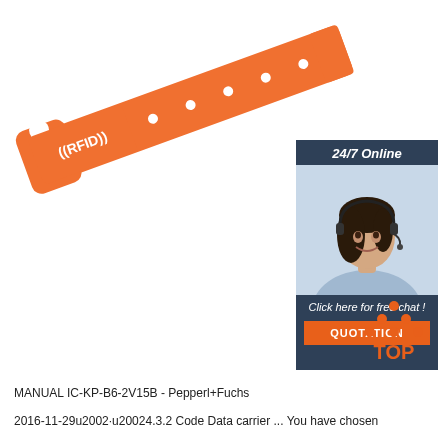[Figure (illustration): Orange RFID wristband/bracelet shown diagonally, with RFID logo and white dots along the band]
[Figure (photo): Customer service chat widget: dark background with '24/7 Online' header, photo of smiling woman with headset, 'Click here for free chat!' text, and orange QUOTATION button]
[Figure (logo): TOP logo with orange dots arranged in a triangle above the word TOP in orange]
MANUAL IC-KP-B6-2V15B - Pepperl+Fuchs
2016-11-29u2002·u20024.3.2 Code Data carrier ... You have chosen